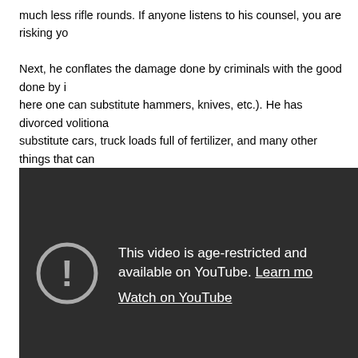much less rifle rounds. If anyone listens to his counsel, you are risking yo... Next, he conflates the damage done by criminals with the good done by i... here one can substitute hammers, knives, etc.). He has divorced volitiona... substitute cars, truck loads full of fertilizer, and many other things that can... used for good). He even throws in a derogatory term for good measure, i.e... whatsoever to do with behavior in one's own home, and everything to do w... weapon in public. No respected tactical trainer to my knowledge has ever... around guns at home invaders. You should shoot them, just like this woma... defense.
[Figure (screenshot): YouTube age-restricted video embed showing a dark background with a warning icon (exclamation mark in circle), text reading 'This video is age-restricted and available on YouTube. Learn mo...' and a 'Watch on YouTube' link.]